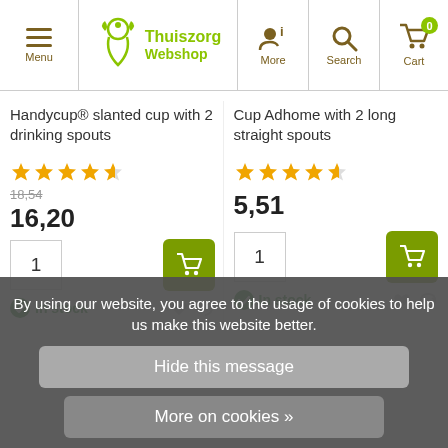Menu | Thuiszorg Webshop | More | Search | Cart 0
Handycup® slanted cup with 2 drinking spouts
★★★★½ | Old price: 18,54 | Price: 16,20 | Qty: 1 | In stock
Cup Adhome with 2 long straight spouts
★★★★½ | Price: 5,51 | Qty: 1 | In stock
By using our website, you agree to the usage of cookies to help us make this website better.
Hide this message
More on cookies »